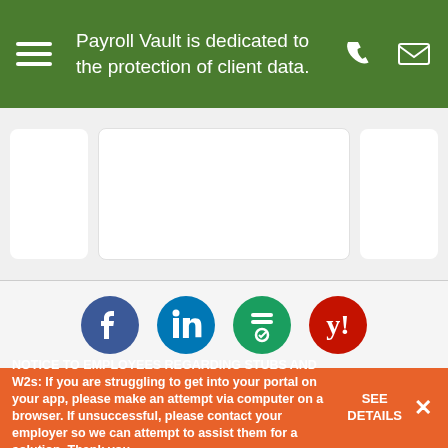Payroll Vault is dedicated to the protection of client data.
[Figure (screenshot): Three white card placeholders on a light gray background]
[Figure (infographic): Four social media icon circles: Facebook (dark blue), LinkedIn (blue), a green utility/tool icon, and Yelp (red)]
Contact Us
NOTICE TO EMPLOYEES REGARDING STUBS AND W2s: If you are struggling to get into your portal on your app, please make an attempt via computer on a browser. If unsuccessful, please contact your employer so we can attempt to assist them for a solution. Thank you.
SEE DETAILS